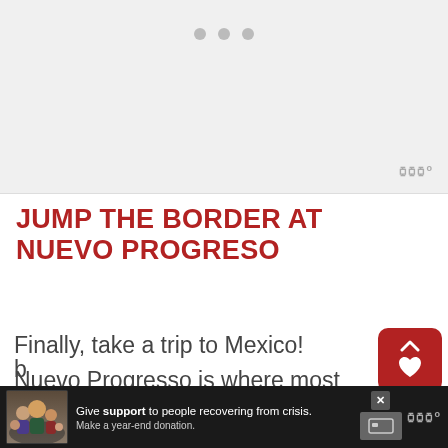[Figure (photo): Light gray image placeholder with three pagination dots at the top center, and a watermark logo in the bottom right corner]
JUMP THE BORDER AT NUEVO PROGRESO
Finally, take a trip to Mexico! Nuevo Progresso is where most tourist Americans cross. Park in the U... take the pedestrian bridge across the b...
[Figure (screenshot): Advertisement banner at the bottom: dark background with a photo of a family, text reading 'Give support to people recovering from crisis. Make a year-end donation.' with a close button and donate button. Also shows a 'WHAT'S NEXT' panel with thumbnail and text '9 ABSOLUTE BEST THING...']